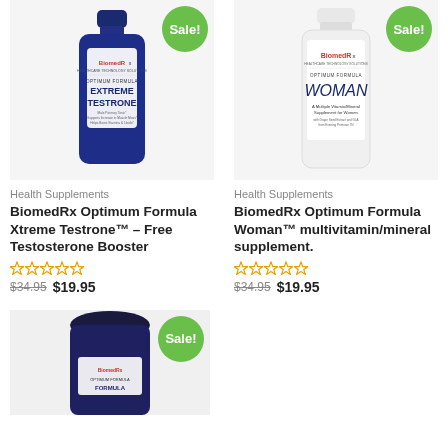[Figure (photo): Blue supplement bottle with BiomedRx label reading EXTREME TESTRONE with Sale! badge]
[Figure (photo): White supplement bottle with BiomedRx label reading WOMAN multivitamin with Sale! badge]
Health Supplements
Health Supplements
BiomedRx Optimum Formula Xtreme Testrone™ – Free Testosterone Booster
BiomedRx Optimum Formula Woman™ multivitamin/mineral supplement.
☆☆☆☆☆
☆☆☆☆☆
$34.95 $19.95
$34.95 $19.95
[Figure (photo): Dark blue supplement bottle partially visible at bottom with Sale! badge]